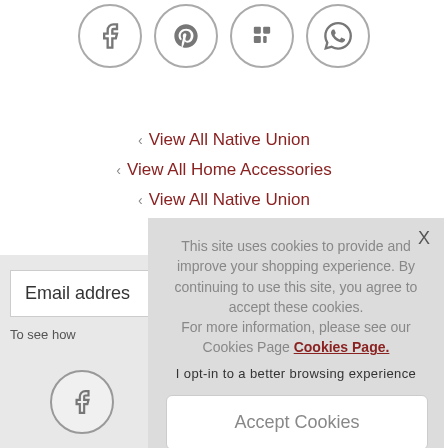[Figure (illustration): Four circular social media icon buttons (Facebook, Pinterest, Flipboard/bookmark, WhatsApp) with gray outlines at the top of the page]
‹ View All Native Union
‹ View All Home Accessories
‹ View All Native Union
Email address
To see how
This site uses cookies to provide and improve your shopping experience. By continuing to use this site, you agree to accept these cookies. For more information, please see our Cookies Page Cookies Page.
I opt-in to a better browsing experience
Accept Cookies